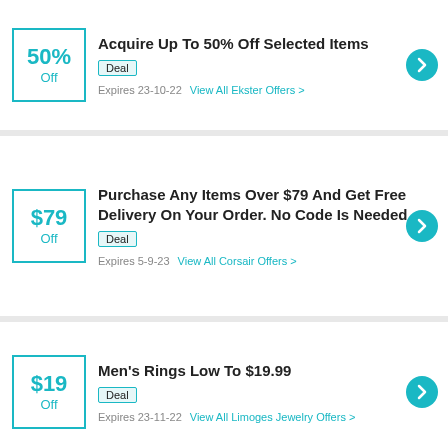Acquire Up To 50% Off Selected Items
Deal
Expires 23-10-22  View All Ekster Offers >
Purchase Any Items Over $79 And Get Free Delivery On Your Order. No Code Is Needed
Deal
Expires 5-9-23  View All Corsair Offers >
Men's Rings Low To $19.99
Deal
Expires 23-11-22  View All Limoges Jewelry Offers >
$60 Off Entire Order